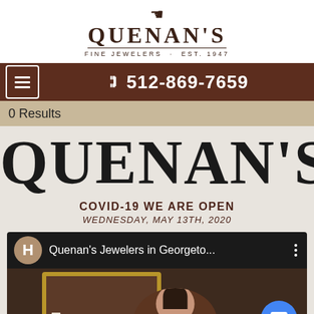[Figure (logo): Quenan's Fine Jewelers logo with crown icon, brand name, and tagline FINE JEWELERS · EST. 1947]
512-869-7659
0 Results
QUENAN'S
COVID-19 WE ARE OPEN
WEDNESDAY, MAY 13TH, 2020
[Figure (screenshot): YouTube video thumbnail showing Quenan's Jewelers in Georgetown with channel avatar H, channel name 'Quenan's Jewelers in Georgeto...', three-dot menu, and preview image of interior with person and lamps]